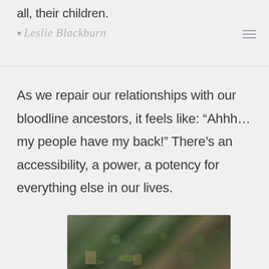all, their children. Leslie Blackburn
As we repair our relationships with our bloodline ancestors, it feels like: “Ahhh… my people have my back!” There’s an accessibility, a power, a potency for everything else in our lives.
[Figure (photo): Close-up photo of natural elements including moss, leaves, stones, and green plants on the ground]